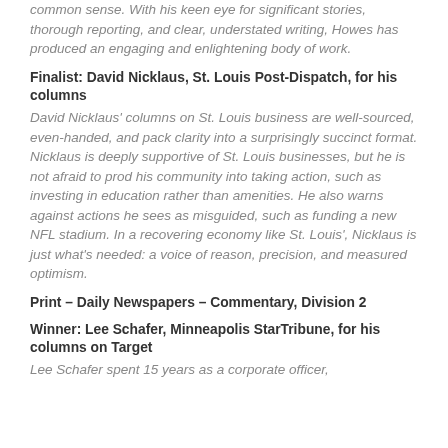common sense. With his keen eye for significant stories, thorough reporting, and clear, understated writing, Howes has produced an engaging and enlightening body of work.
Finalist: David Nicklaus, St. Louis Post-Dispatch, for his columns
David Nicklaus' columns on St. Louis business are well-sourced, even-handed, and pack clarity into a surprisingly succinct format. Nicklaus is deeply supportive of St. Louis businesses, but he is not afraid to prod his community into taking action, such as investing in education rather than amenities. He also warns against actions he sees as misguided, such as funding a new NFL stadium. In a recovering economy like St. Louis', Nicklaus is just what's needed: a voice of reason, precision, and measured optimism.
Print – Daily Newspapers – Commentary, Division 2
Winner: Lee Schafer, Minneapolis StarTribune, for his columns on Target
Lee Schafer spent 15 years as a corporate officer,